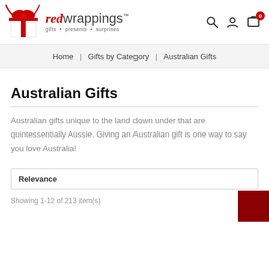[Figure (logo): Red Wrappings logo with gift box and red ribbons, brand name 'redwrappings' with tagline 'gifts · presents · surprises']
Home | Gifts by Category | Australian Gifts
Australian Gifts
Australian gifts unique to the land down under that are quintessentially Aussie. Giving an Australian gift is one way to say you love Australia!
Relevance
Showing 1-12 of 213 item(s)